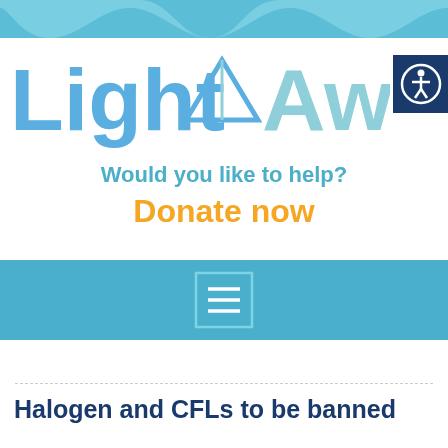[Figure (illustration): Top decorative wave/banner in teal/light blue color]
[Figure (logo): LightAware logo with triangle/mountain icon between 'Light' and 'Aware', two-tone blue coloring]
[Figure (illustration): Accessibility icon (person in circle) on dark navy blue background square]
Would you like to help?
Donate now
[Figure (illustration): Teal navigation bar with hamburger menu button (three horizontal lines in a bordered box)]
Halogen and CFLs to be banned